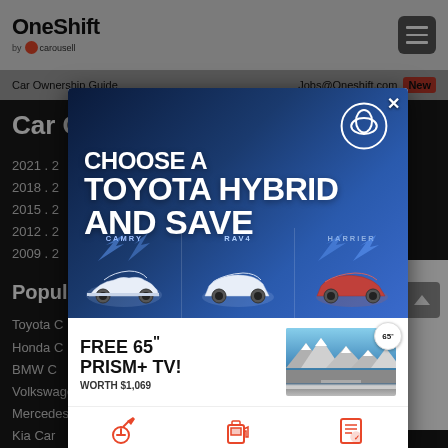OneShift by carousell
Car Ownership Guide | Jobs@Oneshift.com New
Car Of
2021 . 2
2018 . 2
2015 . 2
2012 . 2
2009 . 2
Popular
Toyota C
Honda C
BMW C
Volkswagen
Mercedes
Kia Car
Audi Ca
Mitsubis
Hyunda
[Figure (advertisement): Toyota Hybrid advertisement with Toyota logo, text CHOOSE A TOYOTA HYBRID AND SAVE, showing three car models: CAMRY, RAV4, HARRIER]
[Figure (advertisement): FREE 65 inch PRISM+ TV! WORTH $1,069 advertisement with TV image showing mountain landscape and 65 inch badge]
[Figure (illustration): Bottom icon strip with three service icons in red/pink]